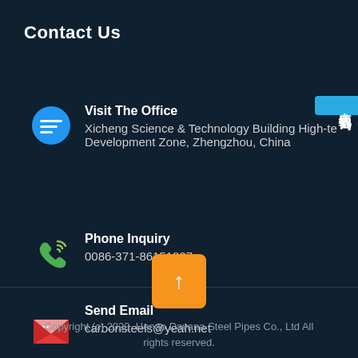Contact Us
Visit The Office
Xicheng Science & Technology Building High-te Development Zone, Zhengzhou, China
Phone Inquiry
0086-371-86151827
Send Email
carboNsteels@yeah.net
[Figure (infographic): Chinese characters badge reading '在线咨询' (Online Consultation) in cyan/blue on right side]
[Figure (illustration): Orange up-arrow button for scrolling to top]
Copyright (c) 2020. Henan Davana Steel Pipes Co., Ltd All rights reserved.